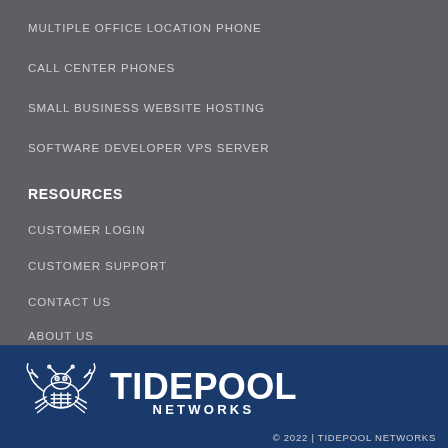MULTIPLE OFFICE LOCATION PHONE
CALL CENTER PHONES
SMALL BUSINESS WEBSITE HOSTING
SOFTWARE DEVELOPER VPS SERVER
RESOURCES
CUSTOMER LOGIN
CUSTOMER SUPPORT
CONTACT US
ABOUT US
[Figure (logo): Tidepool Networks logo with crab icon and text TIDEPOOL NETWORKS]
© 2022 | TIDEPOOL NETWORKS